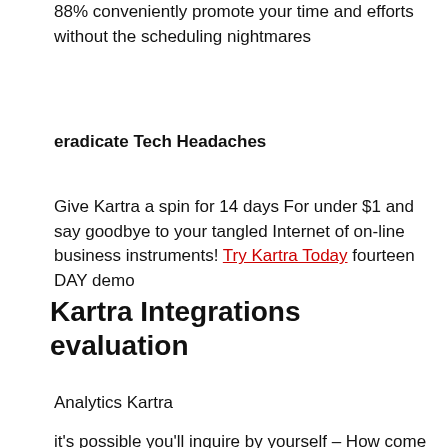88% conveniently promote your time and efforts without the scheduling nightmares
eradicate Tech Headaches
Give Kartra a spin for 14 days For under $1 and say goodbye to your tangled Internet of on-line business instruments! Try Kartra Today fourteen DAY demo
Kartra Integrations evaluation
[Figure (illustration): Analytics Kartra image placeholder (broken image icon with alt text)]
it's possible you'll inquire by yourself – How come